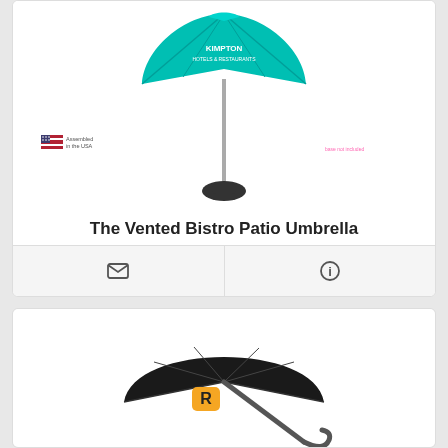[Figure (photo): Teal patio umbrella with Kimpton branding on a black base stand, with a small US flag/assembled in USA badge in the corner]
The Vented Bistro Patio Umbrella
# SB-5500
$144.98 - $341.98
[Figure (photo): Black compact/folding umbrella with a yellow square logo badge (Rockstar Games style R logo) on the canopy, shown open at an angle]